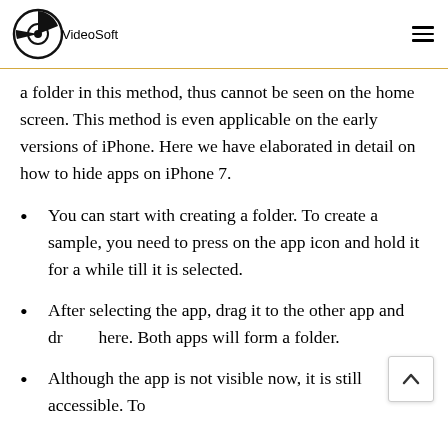VideoSoft
a folder in this method, thus cannot be seen on the home screen. This method is even applicable on the early versions of iPhone. Here we have elaborated in detail on how to hide apps on iPhone 7.
You can start with creating a folder. To create a sample, you need to press on the app icon and hold it for a while till it is selected.
After selecting the app, drag it to the other app and drop it here. Both apps will form a folder.
Although the app is not visible now, it is still accessible. To